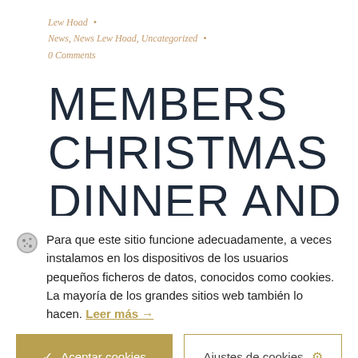Lew Hoad • 
News, News Lew Hoad, Uncategorized •
0 Comments
MEMBERS CHRISTMAS DINNER AND
Para que este sitio funcione adecuadamente, a veces instalamos en los dispositivos de los usuarios pequeños ficheros de datos, conocidos como cookies. La mayoría de los grandes sitios web también lo hacen. Leer más →
✓ Aceptar cookies
Ajustes de cookies ⚙